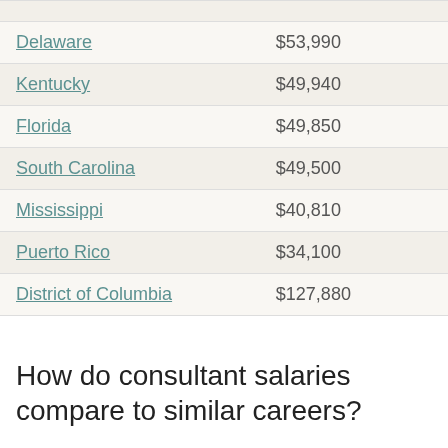| State | Salary |
| --- | --- |
| Delaware | $53,990 |
| Kentucky | $49,940 |
| Florida | $49,850 |
| South Carolina | $49,500 |
| Mississippi | $40,810 |
| Puerto Rico | $34,100 |
| District of Columbia | $127,880 |
How do consultant salaries compare to similar careers?